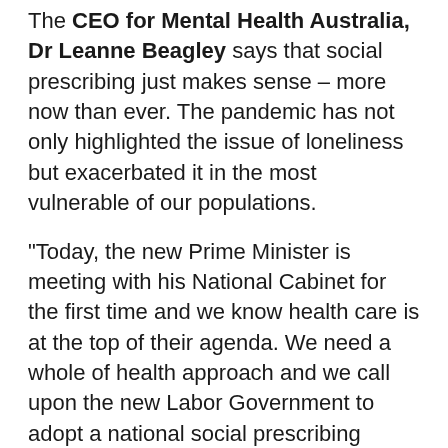The CEO for Mental Health Australia, Dr Leanne Beagley says that social prescribing just makes sense – more now than ever. The pandemic has not only highlighted the issue of loneliness but exacerbated it in the most vulnerable of our populations.
"Today, the new Prime Minister is meeting with his National Cabinet for the first time and we know health care is at the top of their agenda. We need a whole of health approach and we call upon the new Labor Government to adopt a national social prescribing scheme in their 10 Year Heath Care Plan," said Dr Beagley.
"As recent Medibank research notes, mental health conditions like social anxiety disorder can prevent people from connecting for fear of social situations, creating a cycle of loneliness.